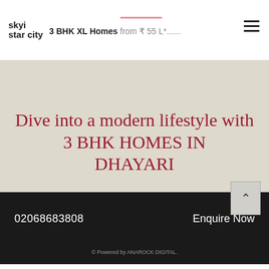[Figure (logo): Skyi Star City logo with text 'skyi' and 'star city' in bold black]
3 BHK XL Homes from ₹ 55 L*...
Artists Impression.
Dive into a modern lifestyle with 3 BHK HOMES IN DHAYARI
02068683808
Enquire Now
© Powered by ANAROCK DIGITAL.